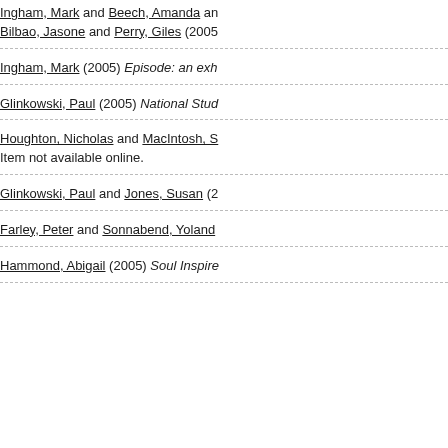Ingham, Mark and Beech, Amanda and Bilbao, Jasone and Perry, Giles (2005)
Ingham, Mark (2005) Episode: an exh...
Glinkowski, Paul (2005) National Stud...
Houghton, Nicholas and MacIntosh, S... Item not available online.
Glinkowski, Paul and Jones, Susan (2...
Farley, Peter and Sonnabend, Yoland...
Hammond, Abigail (2005) Soul Inspire...